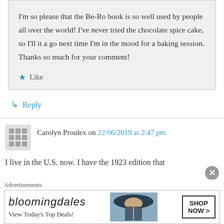I'm so please that the Be-Ro book is so well used by people all over the world! I've never tried the chocolate spice cake, so I'll it a go next time I'm in the mood for a baking session.
Thanks so much for your comment!
Like
Reply
Carolyn Proulex on 22/06/2019 at 2:47 pm
I live in the U.S. now. I have the 1923 edition that
Advertisements
[Figure (infographic): Bloomingdale's advertisement showing logo, 'View Today's Top Deals!' tagline, a woman wearing a large hat, and a 'SHOP NOW >' call-to-action button]